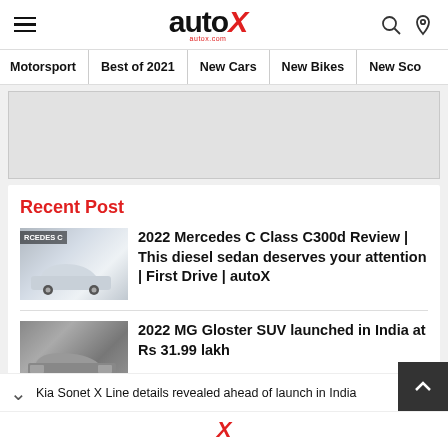autoX
Motorsport | Best of 2021 | New Cars | New Bikes | New Sco
[Figure (other): Advertisement placeholder block]
Recent Post
[Figure (photo): 2022 Mercedes C Class thumbnail with RCEDES C label]
2022 Mercedes C Class C300d Review | This diesel sedan deserves your attention | First Drive | autoX
[Figure (photo): 2022 MG Gloster SUV thumbnail]
2022 MG Gloster SUV launched in India at Rs 31.99 lakh
Kia Sonet X Line details revealed ahead of launch in India